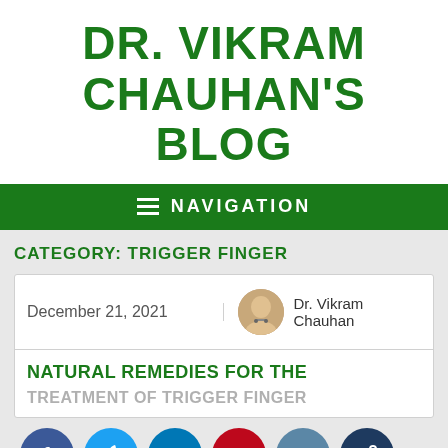DR. VIKRAM CHAUHAN'S BLOG
NAVIGATION
CATEGORY: TRIGGER FINGER
December 21, 2021
Dr. Vikram Chauhan
NATURAL REMEDIES FOR THE TREATMENT OF TRIGGER FINGER
ABSTRACT